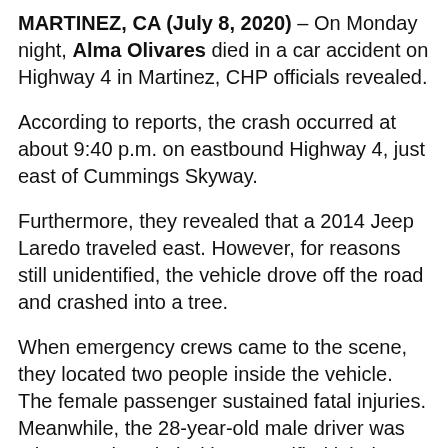MARTINEZ, CA (July 8, 2020) – On Monday night, Alma Olivares died in a car accident on Highway 4 in Martinez, CHP officials revealed.
According to reports, the crash occurred at about 9:40 p.m. on eastbound Highway 4, just east of Cummings Skyway.
Furthermore, they revealed that a 2014 Jeep Laredo traveled east. However, for reasons still unidentified, the vehicle drove off the road and crashed into a tree.
When emergency crews came to the scene, they located two people inside the vehicle. The female passenger sustained fatal injuries. Meanwhile, the 28-year-old male driver was taken to a hospital with unspecified injuries.